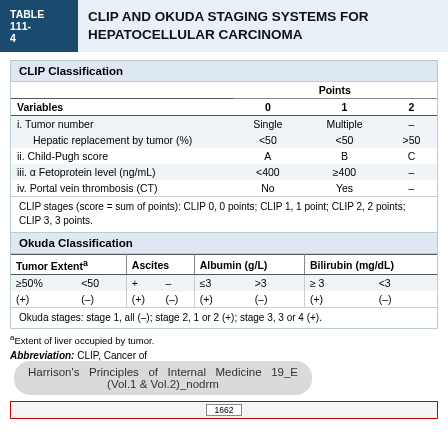TABLE 111-4  CLIP AND OKUDA STAGING SYSTEMS FOR HEPATOCELLULAR CARCINOMA
CLIP Classification
| Variables | Points 0 | Points 1 | Points 2 |
| --- | --- | --- | --- |
| i. Tumor number | Single | Multiple | – |
| Hepatic replacement by tumor (%) | <50 | <50 | >50 |
| ii. Child-Pugh score | A | B | C |
| iii. α Fetoprotein level (ng/mL) | <400 | ≥400 | – |
| iv. Portal vein thrombosis (CT) | No | Yes | – |
CLIP stages (score = sum of points): CLIP 0, 0 points; CLIP 1, 1 point; CLIP 2, 2 points; CLIP 3, 3 points.
Okuda Classification
| Tumor Extent^a |  | Ascites |  | Albumin (g/L) |  | Bilirubin (mg/dL) |  |
| --- | --- | --- | --- | --- | --- | --- | --- |
| ≥50% | <50 | + | – | ≤3 | >3 | ≥ 3 | <3 |
| (+) | (–) | (+) | (–) | (+) | (–) | (+) | (–) |
Okuda stages: stage 1, all (–); stage 2, 1 or 2 (+); stage 3, 3 or 4 (+).
^aExtent of liver occupied by tumor.
Abbreviation: CLIP, Cancer of